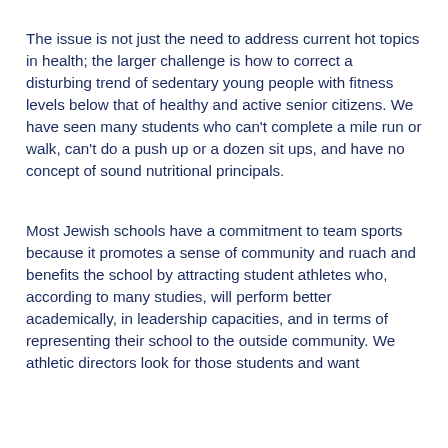The issue is not just the need to address current hot topics in health; the larger challenge is how to correct a disturbing trend of sedentary young people with fitness levels below that of healthy and active senior citizens. We have seen many students who can't complete a mile run or walk, can't do a push up or a dozen sit ups, and have no concept of sound nutritional principals.
Most Jewish schools have a commitment to team sports because it promotes a sense of community and ruach and benefits the school by attracting student athletes who, according to many studies, will perform better academically, in leadership capacities, and in terms of representing their school to the outside community. We athletic directors look for those students and want